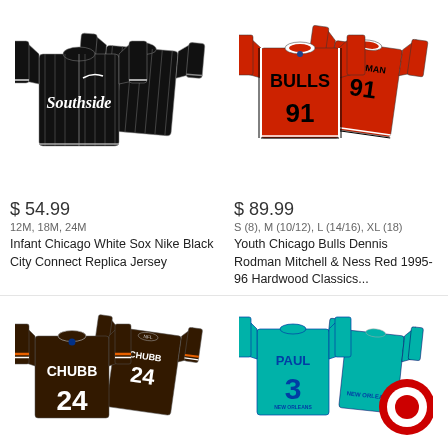[Figure (photo): Black pinstripe Chicago White Sox 'Southside' replica baseball jersey, Nike brand, shown front and back]
$ 54.99
12M, 18M, 24M
Infant Chicago White Sox Nike Black City Connect Replica Jersey
[Figure (photo): Red Chicago Bulls Dennis Rodman #91 Mitchell & Ness basketball jersey, shown front and back]
$ 89.99
S (8), M (10/12), L (14/16), XL (18)
Youth Chicago Chicago Bulls Dennis Rodman Mitchell & Ness Red 1995-96 Hardwood Classics...
[Figure (photo): Brown Cleveland Browns Nick Chubb #24 Nike football jersey, shown front and back]
[Figure (photo): Teal New Orleans Hornets Chris Paul #3 basketball jersey with Target logo overlay]